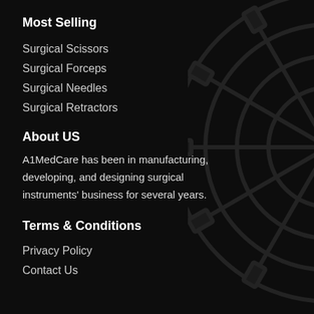Most Selling
Surgical Scissors
Surgical Forceps
Surgical Needles
Surgical Retractors
About US
A1MedCare has been in manufacturing, developing, and designing surgical instruments' business for several years.
Terms & Conditions
Privacy Policy
Contact Us